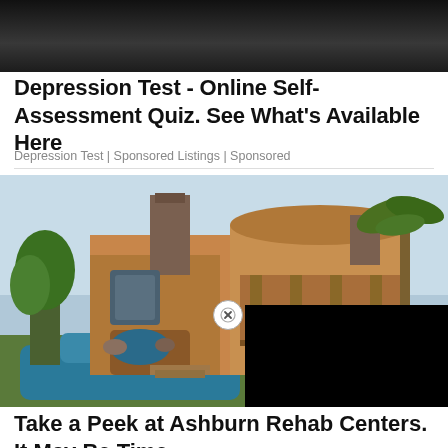[Figure (photo): Cropped partial image showing a person in gray clothing against a dark background]
Depression Test - Online Self-Assessment Quiz. See What's Available Here
Depression Test | Sponsored Listings | Sponsored
[Figure (photo): Luxury house with pool and palm trees in warm desert setting, partially obscured by black overlay in bottom-right corner with close (X) button]
Take a Peek at Ashburn Rehab Centers. It May Be Time